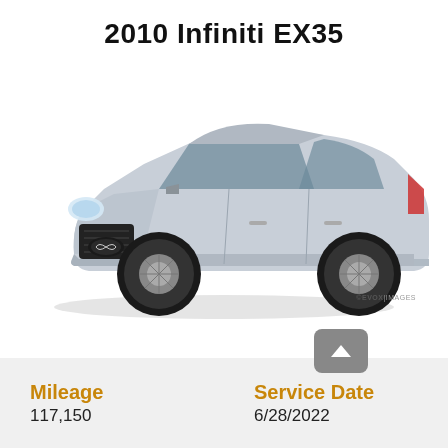2010 Infiniti EX35
[Figure (photo): Silver 2010 Infiniti EX35 crossover SUV shown from a front three-quarter angle, with EVOX IMAGES watermark in lower right.]
©EVOX IMAGES
| Mileage | Service Date |
| --- | --- |
| 117,150 | 6/28/2022 |